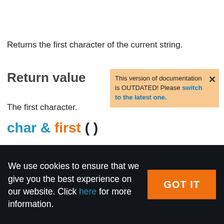ar first ( ) — C++ | C# | UnigineScript
Returns the first character of the current string.
Return value
This version of documentation is OUTDATED! Please switch to the latest one.
The first character.
char & first ( )
We use cookies to ensure that we give you the best experience on our website. Click here for more information.